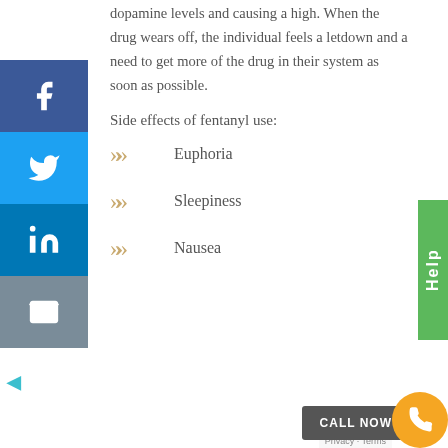dopamine levels and causing a high. When the drug wears off, the individual feels a letdown and a need to get more of the drug in their system as soon as possible.
Side effects of fentanyl use:
Euphoria
Sleepiness
Nausea